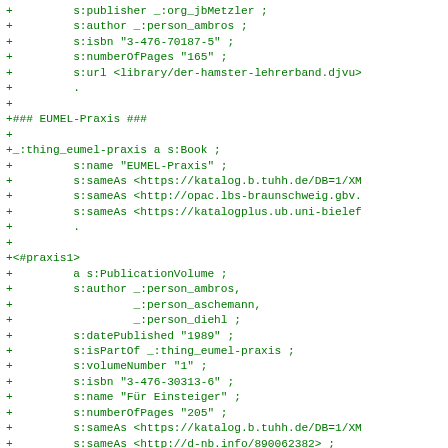+ s:publisher _:org_jbMetzler ;
+         s:author _:person_ambros ;
+         s:isbn "3-476-70187-5" ;
+         s:numberOfPages "165" ;
+         s:url <library/der-hamster-lehrerband.djvu>
+         .
+
+### EUMEL-Praxis ###
+
+_:thing_eumel-praxis a s:Book ;
+         s:name "EUMEL-Praxis" ;
+         s:sameAs <https://katalog.b.tuhh.de/DB=1/XM
+         s:sameAs <http://opac.lbs-braunschweig.gbv.
+         s:sameAs <https://katalogplus.ub.uni-bielef
+         .
+
+<#praxis1>
+         a s:PublicationVolume ;
+         s:author _:person_ambros,
+                  _:person_aschemann,
+                  _:person_diehl ;
+         s:datePublished "1989" ;
+         s:isPartOf _:thing_eumel-praxis ;
+         s:volumeNumber "1" ;
+         s:isbn "3-476-30313-6" ;
+         s:name "Für Einsteiger" ;
+         s:numberOfPages "205" ;
+         s:sameAs <https://katalog.b.tuhh.de/DB=1/XM
+         s:sameAs <http://d-nb.info/890062382> ;
+         s:sameAs <https://katalogplus.ub.uni-bielef